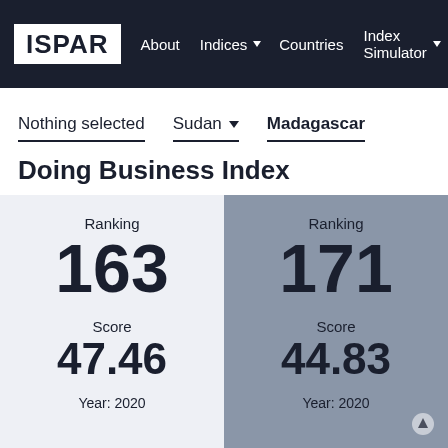ISPAR | About | Indices | Countries | Index Simulator | Ther
Nothing selected | Sudan ▼ | Madagascar
Doing Business Index
|  | Sudan | Madagascar |
| --- | --- | --- |
| Ranking | 163 | 171 |
| Score | 47.46 | 44.83 |
| Year | 2020 | 2020 |